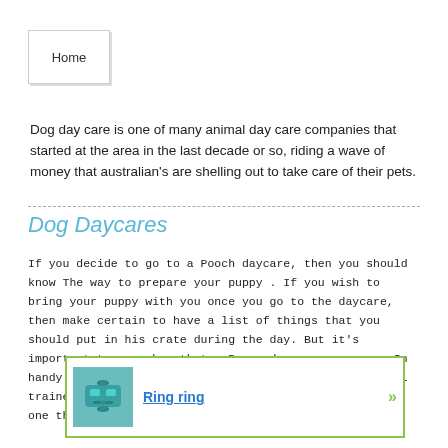[Figure (screenshot): Home tab button with shadow effect]
Dog day care is one of many animal day care companies that started at the area in the last decade or so, riding a wave of money that australian's are shelling out to take care of their pets.
Dog Daycares
If you decide to go to a Pooch daycare, then you should know The way to prepare your puppy . If you wish to bring your puppy with you once you go to the daycare, then make certain to have a list of things that you should put in his crate during the day. But it's important to remember that a Puppy day care may come In handy for puppies that have health difficulties. A well trained Doggy may have the a... han one that... he.
[Figure (infographic): Popup notification box with teal telephone image and Ring ring link with green border and arrow]